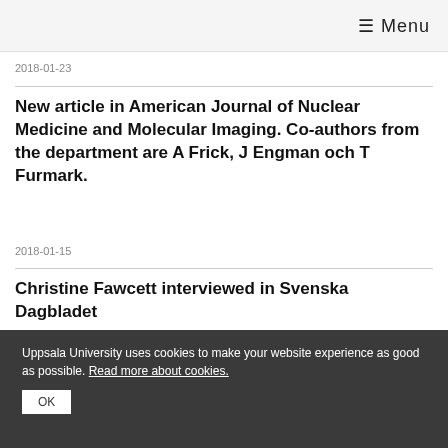≡ Menu
2018-01-23
New article in American Journal of Nuclear Medicine and Molecular Imaging. Co-authors from the department are A Frick, J Engman och T Furmark.
2018-01-15
Christine Fawcett interviewed in Svenska Dagbladet
2018-01-10
Uppsala University uses cookies to make your website experience as good as possible. Read more about cookies. OK